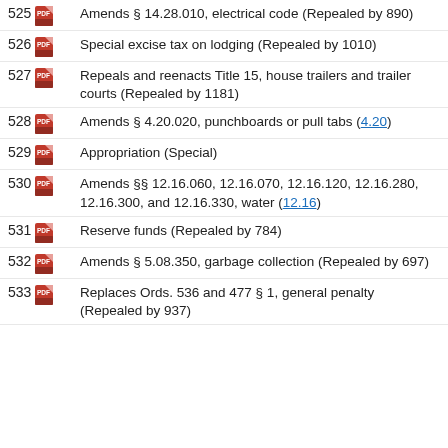525 - Amends § 14.28.010, electrical code (Repealed by 890)
526 - Special excise tax on lodging (Repealed by 1010)
527 - Repeals and reenacts Title 15, house trailers and trailer courts (Repealed by 1181)
528 - Amends § 4.20.020, punchboards or pull tabs (4.20)
529 - Appropriation (Special)
530 - Amends §§ 12.16.060, 12.16.070, 12.16.120, 12.16.280, 12.16.300, and 12.16.330, water (12.16)
531 - Reserve funds (Repealed by 784)
532 - Amends § 5.08.350, garbage collection (Repealed by 697)
533 - Replaces Ords. 536 and 477 § 1, general penalty (Repealed by 937)